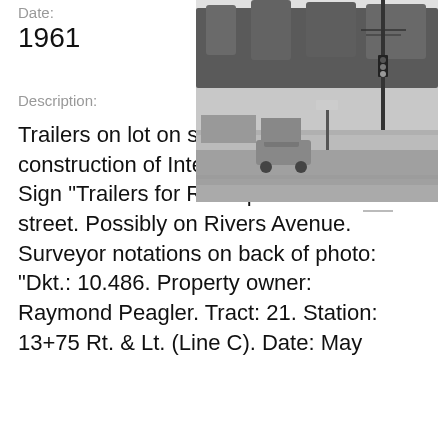Date:
1961
[Figure (photo): Black and white photograph of trailers on a lot with trees and a street visible, power lines and a traffic light in the background.]
Description:
Trailers on lot on site affected by the construction of Interstate 26 (I-26). Sign "Trailers for Rent" posted on street. Possibly on Rivers Avenue. Surveyor notations on back of photo: "Dkt.: 10.486. Property owner: Raymond Peagler. Tract: 21. Station: 13+75 Rt. & Lt. (Line C). Date: May